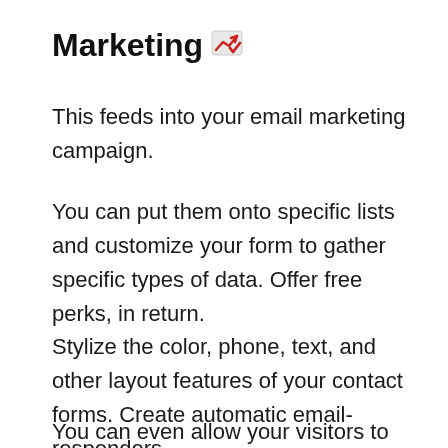Marketing 📈
This feeds into your email marketing campaign.
You can put them onto specific lists and customize your form to gather specific types of data. Offer free perks, in return.
Stylize the color, phone, text, and other layout features of your contact forms. Create automatic email-responders.
You can even allow your visitors to submit